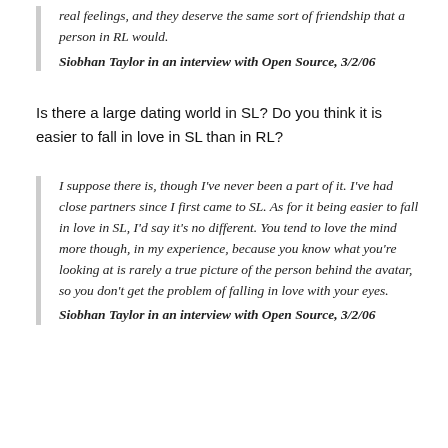real feelings, and they deserve the same sort of friendship that a person in RL would.
Siobhan Taylor in an interview with Open Source, 3/2/06
Is there a large dating world in SL? Do you think it is easier to fall in love in SL than in RL?
I suppose there is, though I've never been a part of it. I've had close partners since I first came to SL. As for it being easier to fall in love in SL, I'd say it's no different. You tend to love the mind more though, in my experience, because you know what you're looking at is rarely a true picture of the person behind the avatar, so you don't get the problem of falling in love with your eyes.
Siobhan Taylor in an interview with Open Source, 3/2/06